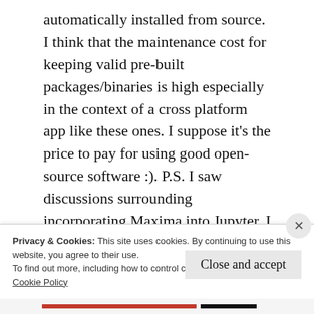automatically installed from source. I think that the maintenance cost for keeping valid pre-built packages/binaries is high especially in the context of a cross platform app like these ones. I suppose it's the price to pay for using good open-source software :). P.S. I saw discussions surrounding incorporating Maxima into Jupyter. I can't wait for that (right now the installation process for incorporating Maxima in Jupyter is not so trivial). Cheers!
Privacy & Cookies: This site uses cookies. By continuing to use this website, you agree to their use.
To find out more, including how to control cookies, see here: Cookie Policy